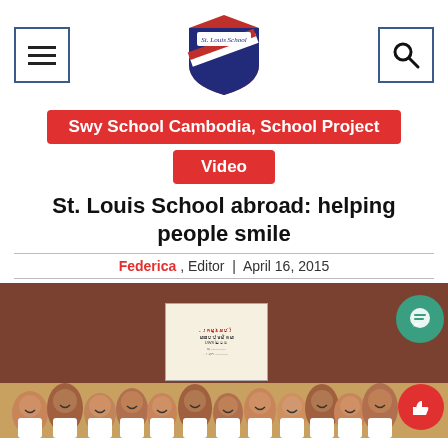St. Louis School navigation header with menu, logo, and search icons
Swy School Cambodia, School Project
Video
St. Louis School abroad: helping people smile
Federica , Editor | April 16, 2015
[Figure (photo): Group photo of children in school uniforms smiling in front of a wooden wall with a sign in Khmer script at a school in Cambodia]